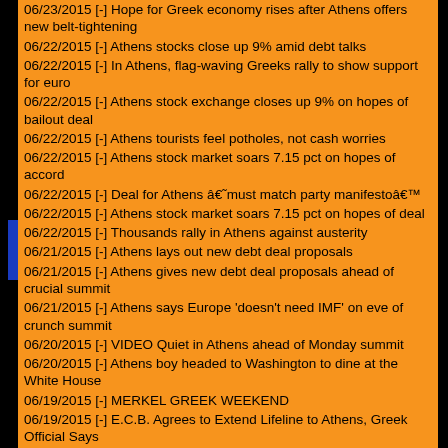06/23/2015 [-] Hope for Greek economy rises after Athens offers new belt-tightening
06/22/2015 [-] Athens stocks close up 9% amid debt talks
06/22/2015 [-] In Athens, flag-waving Greeks rally to show support for euro
06/22/2015 [-] Athens stock exchange closes up 9% on hopes of bailout deal
06/22/2015 [-] Athens tourists feel potholes, not cash worries
06/22/2015 [-] Athens stock market soars 7.15 pct on hopes of accord
06/22/2015 [-] Deal for Athens â€˜must match party manifestoâ€™
06/22/2015 [-] Athens stock market soars 7.15 pct on hopes of deal
06/22/2015 [-] Thousands rally in Athens against austerity
06/21/2015 [-] Athens lays out new debt deal proposals
06/21/2015 [-] Athens gives new debt deal proposals ahead of crucial summit
06/21/2015 [-] Athens says Europe 'doesn't need IMF' on eve of crunch summit
06/20/2015 [-] VIDEO Quiet in Athens ahead of Monday summit
06/20/2015 [-] Athens boy headed to Washington to dine at the White House
06/19/2015 [-] MERKEL GREEK WEEKEND
06/19/2015 [-] E.C.B. Agrees to Extend Lifeline to Athens, Greek Official Says
06/18/2015 [-] Merkel Greek deal still possible if Athens muster political will
06/18/2015 [-] Merkel says Greek Deal Still Possible if Athens Shows Will
06/18/2015 [-] The latest on Greece Athens market slump leads Europe lower